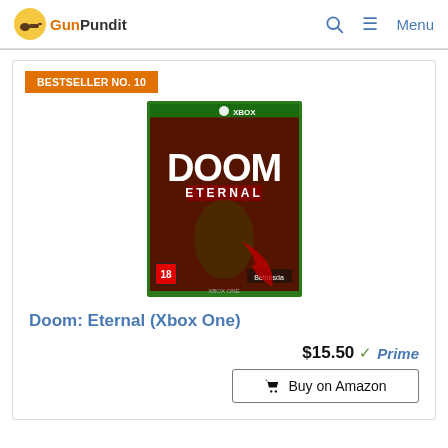GunPundit — Menu
BESTSELLER NO. 10
[Figure (photo): Doom: Eternal Xbox One game box art showing armored demon slayer with the game title and age rating 18, published by Bethesda]
Doom: Eternal (Xbox One)
$15.50 Prime
Buy on Amazon